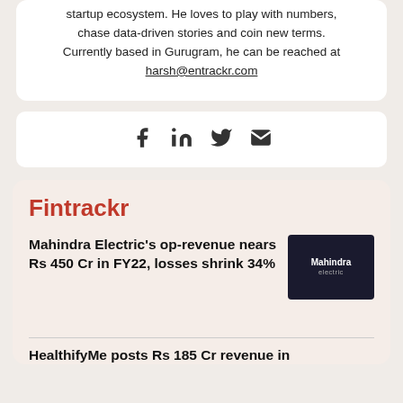startup ecosystem. He loves to play with numbers, chase data-driven stories and coin new terms. Currently based in Gurugram, he can be reached at harsh@entrackr.com
[Figure (infographic): Social media icons: Facebook, LinkedIn, Twitter, Email]
Fintrackr
Mahindra Electric's op-revenue nears Rs 450 Cr in FY22, losses shrink 34%
[Figure (photo): Dark thumbnail image with Mahindra Electric branding/logo]
HealthifyMe posts Rs 185 Cr revenue in